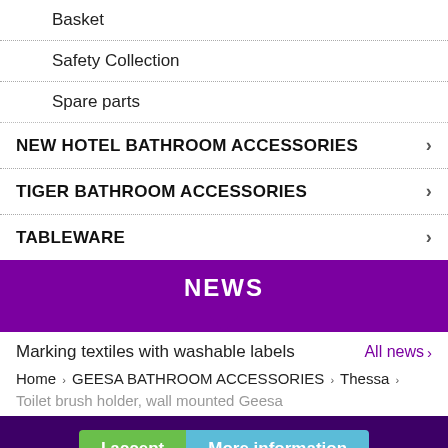Basket
Safety Collection
Spare parts
NEW HOTEL BATHROOM ACCESSORIES
TIGER BATHROOM ACCESSORIES
TABLEWARE
NEWS
Marking textiles with washable labels
All news ›
Home › GEESA BATHROOM ACCESSORIES › Thessa › Toilet brush holder, wall mounted Geesa
I accept   More information
Our webshop uses cookies to offer a better user experience and we recommend you to accept their use to fully enjoy your navigation.